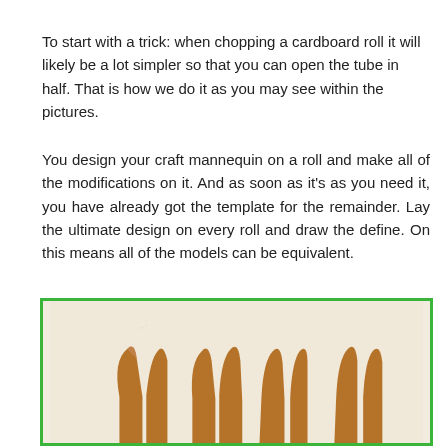To start with a trick: when chopping a cardboard roll it will likely be a lot simpler so that you can open the tube in half. That is how we do it as you may see within the pictures.
You design your craft mannequin on a roll and make all of the modifications on it. And as soon as it's as you need it, you have already got the template for the remainder. Lay the ultimate design on every roll and draw the define. On this means all of the models can be equivalent.
[Figure (photo): Photo showing several cardboard roll pieces cut and shaped into bunny ear forms, arranged on a light beige/cream surface. The bottom of multiple cut cardboard tubes with pointed ear shapes are visible, with brown cardboard coloring.]